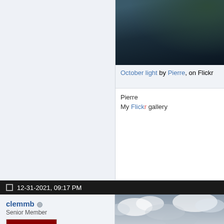[Figure (photo): Partial view of mountain/cliff with dark forest, Flickr photo titled October light by Pierre]
October light by Pierre, on Flickr
Pierre
My Flickr gallery
12-31-2021, 09:17 PM
clemmb
Senior Member
[Figure (photo): Vintage folding camera avatar image on red background]
Join Date: Dec 2008
Location: Bryan, TX
Posts: 1,354
[Figure (photo): Ocean scene with rainbow, stormy sky with clouds, dark water with waves]